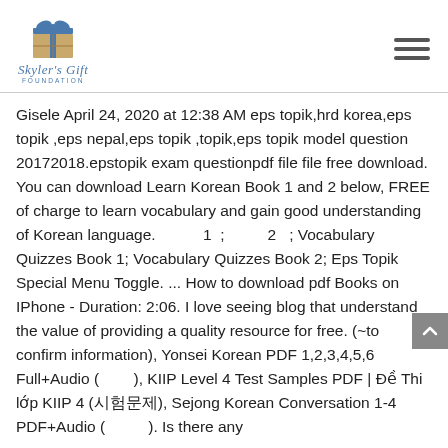[Figure (logo): Skyler's Gift Foundation logo with gift box icon and italic script text]
Gisele April 24, 2020 at 12:38 AM eps topik,hrd korea,eps topik ,eps nepal,eps topik ,topik,eps topik model question 20172018.epstopik exam questionpdf file file free download. You can download Learn Korean Book 1 and 2 below, FREE of charge to learn vocabulary and gain good understanding of Korean language.      1  ;       2   ; Vocabulary Quizzes Book 1; Vocabulary Quizzes Book 2; Eps Topik Special Menu Toggle. ... How to download pdf Books on IPhone - Duration: 2:06. I love seeing blog that understand the value of providing a quality resource for free. (~to confirm information), Yonsei Korean PDF 1,2,3,4,5,6 Full+Audio (       ), KIIP Level 4 Test Samples PDF | Đề Thi lớp KIIP 4 (시험문제), Sejong Korean Conversation 1-4 PDF+Audio (          ). Is there any